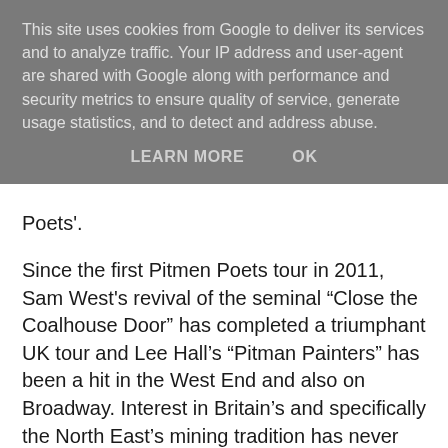This site uses cookies from Google to deliver its services and to analyze traffic. Your IP address and user-agent are shared with Google along with performance and security metrics to ensure quality of service, generate usage statistics, and to detect and address abuse.
LEARN MORE   OK
Poets'.
Since the first Pitmen Poets tour in 2011, Sam West's revival of the seminal “Close the Coalhouse Door” has completed a triumphant UK tour and Lee Hall’s “Pitman Painters” has been a hit in the West End and also on Broadway. Interest in Britain’s and specifically the North East’s mining tradition has never been more intense. The Pitmen Poets will be touring the UK again in January 2016.
The Pitmen Poets celebrate the songs and culture of